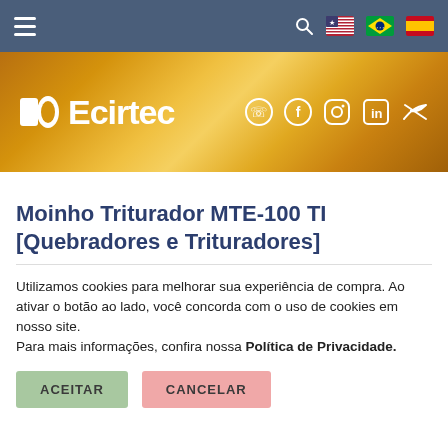Navigation bar with hamburger menu, search icon, and language flags (US, Brazil, Spain)
[Figure (logo): Recirtec company logo with gold banner background and social media icons (WhatsApp, Facebook, Instagram, LinkedIn, Twitter)]
Moinho Triturador MTE-100 TI [Quebradores e Trituradores]
Utilizamos cookies para melhorar sua experiência de compra. Ao ativar o botão ao lado, você concorda com o uso de cookies em nosso site. Para mais informações, confira nossa Política de Privacidade.
ACEITAR
CANCELAR